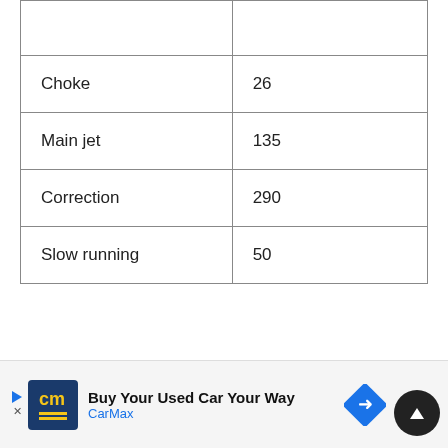|  |  |
| Choke | 26 |
| Main jet | 135 |
| Correction | 290 |
| Slow running | 50 |